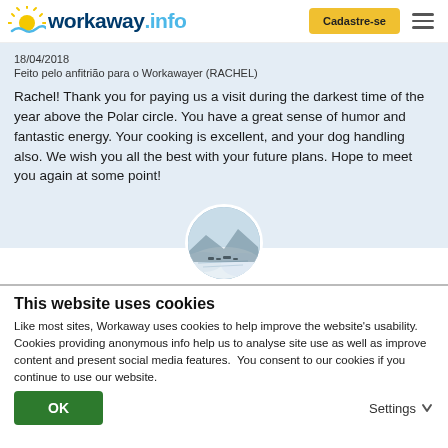workaway.info  Cadastre-se
18/04/2018
Feito pelo anfitrião para o Workawayer (RACHEL)
Rachel! Thank you for paying us a visit during the darkest time of the year above the Polar circle. You have a great sense of humor and fantastic energy. Your cooking is excellent, and your dog handling also. We wish you all the best with your future plans. Hope to meet you again at some point!
[Figure (photo): Circular profile photo showing a snowy outdoor scene with dogs and sleds]
This website uses cookies
Like most sites, Workaway uses cookies to help improve the website's usability. Cookies providing anonymous info help us to analyse site use as well as improve content and present social media features.  You consent to our cookies if you continue to use our website.
OK   Settings